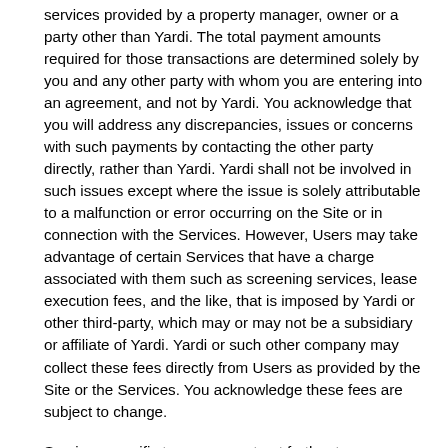services provided by a property manager, owner or a party other than Yardi. The total payment amounts required for those transactions are determined solely by you and any other party with whom you are entering into an agreement, and not by Yardi. You acknowledge that you will address any discrepancies, issues or concerns with such payments by contacting the other party directly, rather than Yardi. Yardi shall not be involved in such issues except where the issue is solely attributable to a malfunction or error occurring on the Site or in connection with the Services. However, Users may take advantage of certain Services that have a charge associated with them such as screening services, lease execution fees, and the like, that is imposed by Yardi or other third-party, which may or may not be a subsidiary or affiliate of Yardi. Yardi or such other company may collect these fees directly from Users as provided by the Site or the Services. You acknowledge these fees are subject to change.
Services-specific terms may set out further terms applying to such payments (including in relation to refunds (if any), billing arrangements and any consequences of failing to make timely payments). Application fees are non-refundable, even if an application is denied, except to the extent otherwise required by applicable law. You must comply with all such terms in relation to